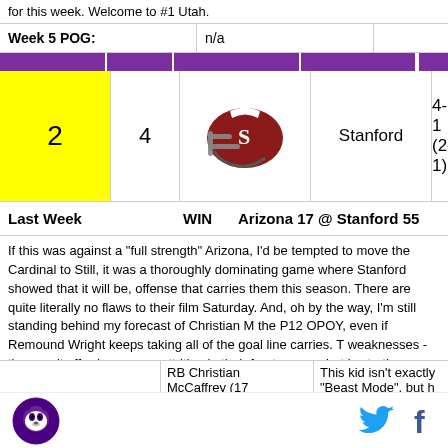for this week. Welcome to #1 Utah.
| Week 5 POG: | n/a |  |  |
| --- | --- | --- | --- |
| 2 | 4 | Stanford helmet | Stanford | 4-1 (2-1) |  |
| Last Week | WIN | Arizona 17 @ Stanford 55 |  |  |  |
|  | RB Christian McCaffrey (17 | This kid isn't exactly "Beast Mode", but h well be "Multi Mode". He can hurt you in |  |  |  |
If this was against a "full strength" Arizona, I'd be tempted to move the Cardinal to Still, it was a thoroughly dominating game where Stanford showed that it will be, offense that carries them this season. There are quite literally no flaws to their film Saturday. And, oh by the way, I'm still standing behind my forecast of Christian M the P12 OPOY, even if Remound Wright keeps taking all of the goal line carries. T weaknesses - they can't afford any more attrition in their front seven - but is startin